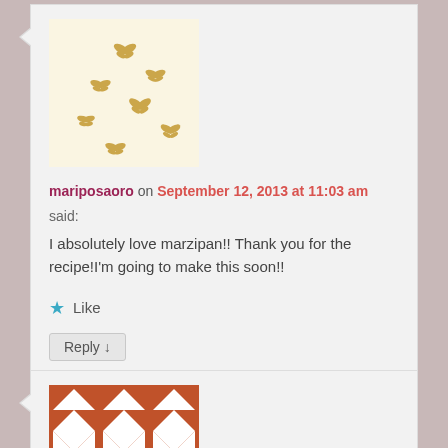[Figure (illustration): Avatar image with butterfly pattern on cream/yellow background]
mariposaoro on September 12, 2013 at 11:03 am
said:
I absolutely love marzipan!! Thank you for the recipe!I'm going to make this soon!!
★ Like
Reply ↓
[Figure (illustration): Avatar image with orange/red geometric diamond and triangle pattern]
Elaine Katzman on December 20, 2013 at 6:54 pm
said:
What a wonderful tribute to your Mom and your